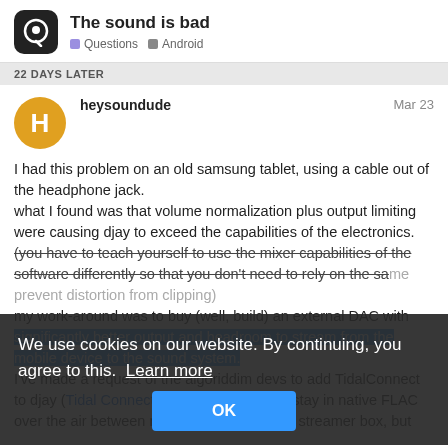The sound is bad | Questions | Android
22 DAYS LATER
heysoundude   Mar 23
I had this problem on an old samsung tablet, using a cable out of the headphone jack.
what I found was that volume normalization plus output limiting were causing djay to exceed the capabilities of the electronics.
(you have to teach yourself to use the mixer capabilities of the software differently so that you don't need to rely on the same prevent distortion from clipping)
my work-around was to buy (well, build) an external DAC with significantly better output and headroom to stream from the mobile device to the sound system.
I've made a request of the algoriddim devs to add TidalConnect to djay (Tidal Connect in djay) so that I can stay in native FLAC over the air between my tablet and my DAC streamer box, but
We use cookies on our website. By continuing, you agree to this. Learn more
OK